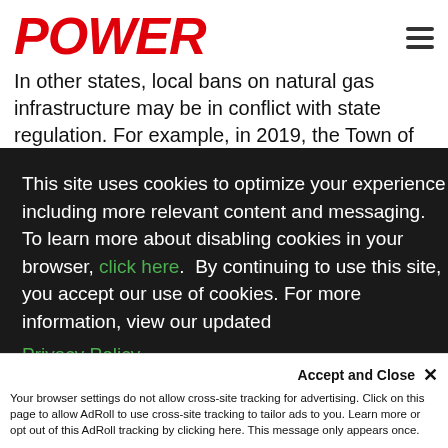POWER
In other states, local bans on natural gas infrastructure may be in conflict with state regulation. For example, in 2019, the Town of Brookline, Massachusetts
This site uses cookies to optimize your experience including more relevant content and messaging. To learn more about disabling cookies in your browser, click here. By continuing to use this site, you accept our use of cookies. For more information, view our updated Privacy Policy.
I consent
Your browser settings do not allow cross-site tracking for advertising. Click on this page to allow AdRoll to use cross-site tracking to tailor ads to you. Learn more or opt out of this AdRoll tracking by clicking here. This message only appears once.
Accept and Close ✕